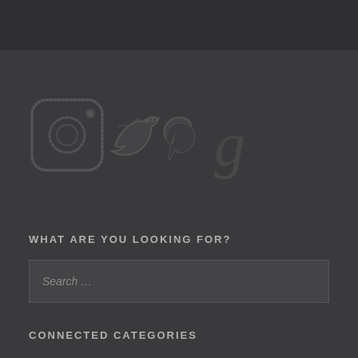[Figure (illustration): Social media icons: Instagram, Twitter, Pinterest, and Goodreads logos rendered in a hand-drawn/sketched dark style on a dark gray background]
WHAT ARE YOU LOOKING FOR?
Search ...
CONNECTED CATEGORIES